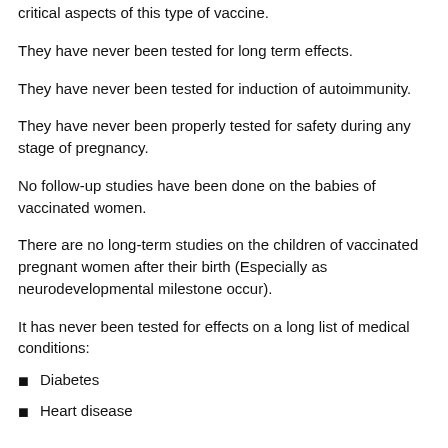critical aspects of this type of vaccine.
They have never been tested for long term effects.
They have never been tested for induction of autoimmunity.
They have never been properly tested for safety during any stage of pregnancy.
No follow-up studies have been done on the babies of vaccinated women.
There are no long-term studies on the children of vaccinated pregnant women after their birth (Especially as neurodevelopmental milestone occur).
It has never been tested for effects on a long list of medical conditions:
Diabetes
Heart disease